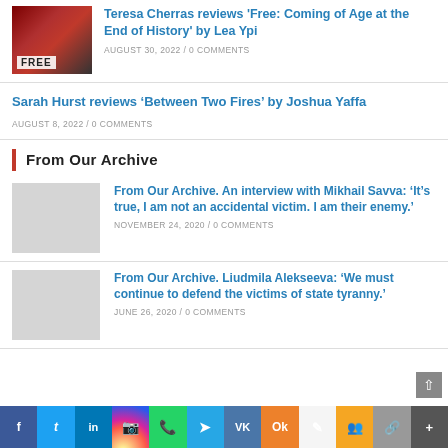[Figure (photo): Book cover thumbnail with rose on red background, 'FREE' label at bottom]
Teresa Cherras reviews 'Free: Coming of Age at the End of History' by Lea Ypi
AUGUST 30, 2022 / 0 COMMENTS
Sarah Hurst reviews ‘Between Two Fires’ by Joshua Yaffa
AUGUST 8, 2022 / 0 COMMENTS
From Our Archive
[Figure (photo): Placeholder thumbnail image for archive article]
From Our Archive. An interview with Mikhail Savva: ‘It’s true, I am not an accidental victim. I am their enemy.’
NOVEMBER 24, 2020 / 0 COMMENTS
[Figure (photo): Placeholder thumbnail image for archive article]
From Our Archive. Liudmila Alekseeva: ‘We must continue to defend the victims of state tyranny.’
JUNE 26, 2020 / 0 COMMENTS